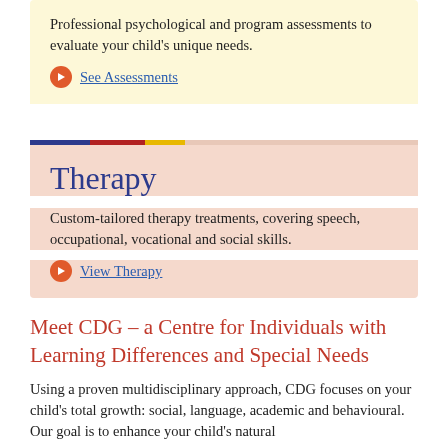Professional psychological and program assessments to evaluate your child's unique needs.
See Assessments
Therapy
Custom-tailored therapy treatments, covering speech, occupational, vocational and social skills.
View Therapy
Meet CDG – a Centre for Individuals with Learning Differences and Special Needs
Using a proven multidisciplinary approach, CDG focuses on your child's total growth: social, language, academic and behavioural. Our goal is to enhance your child's natural